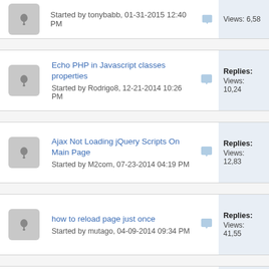Started by tonybabb, 01-31-2015 12:40 PM | Views: 6,58...
Echo PHP in Javascript classes properties
Started by Rodrigo8, 12-21-2014 10:26 PM | Views: 10,24...
Ajax Not Loading jQuery Scripts On Main Page
Started by M2com, 07-23-2014 04:19 PM | Views: 12,83...
how to reload page just once
Started by mutago, 04-09-2014 09:34 PM | Views: 41,55...
AJAX Source Not Working
Started by jdadwilson, 03-19-2014 05:06 AM | Views: 6,39...